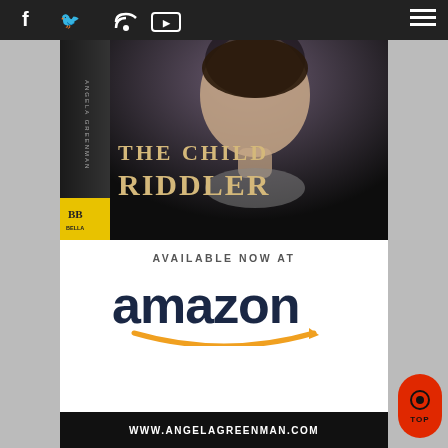Navigation bar with social icons: Facebook, Twitter, RSS, YouTube, and hamburger menu
[Figure (photo): Book cover for 'The Child Riddler' by Angela Greenman, published by Bella Books. Dark background with partial face of a young girl. Title text in gold/tan serif font.]
AVAILABLE NOW AT
[Figure (logo): Amazon logo in dark navy text with orange smile/arrow swoop underneath]
WWW.ANGELAGREENMAN.COM